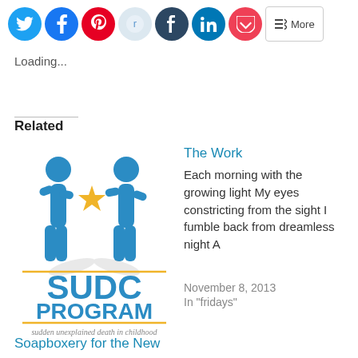[Figure (illustration): Social media sharing icons: Twitter (blue circle), Facebook (blue circle), Pinterest (red circle), Reddit (light blue circle), Tumblr (dark blue circle), LinkedIn (blue circle), Pocket (red circle), and a More button]
Loading...
Related
[Figure (logo): SUDC Program logo with two blue human figures and a gold star, text reading SUDC PROGRAM and 'sudden unexplained death in childhood']
The Work
Each morning with the growing light My eyes constricting from the sight I fumble back from dreamless night A
November 8, 2013
In "fridays"
Soapboxery for the New